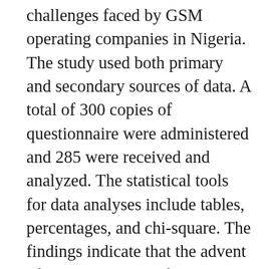challenges faced by GSM operating companies in Nigeria. The study used both primary and secondary sources of data. A total of 300 copies of questionnaire were administered and 285 were received and analyzed. The statistical tools for data analyses include tables, percentages, and chi-square. The findings indicate that the advent of GSM companies facilitate economic development, increase GDP and attract foreign direct investment (FDI); the introduction of GSM technology enhances business operation, quality of life and offer employment opportunities to Nigerians;